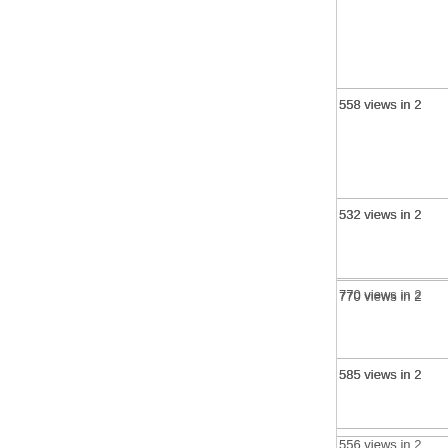558 views in 2...
532 views in 2...
770 views in 2...
585 views in 2...
556 views in 2...
478 views in 2...